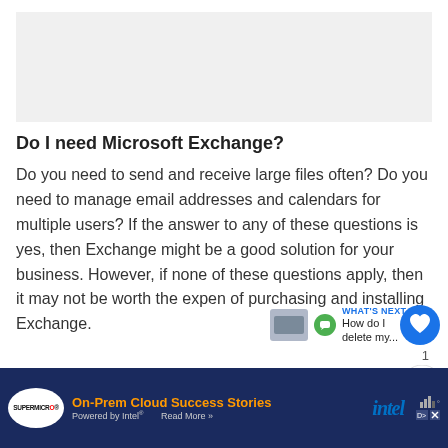Do I need Microsoft Exchange?
Do you need to send and receive large files often? Do you need to manage email addresses and calendars for multiple users? If the answer to any of these questions is yes, then Exchange might be a good solution for your business. However, if none of these questions apply, then it may not be worth the expense of purchasing and installing Exchange.
[Figure (screenshot): UI overlay with heart/like button (blue circle), share button, and What's Next navigation showing 'How do I delete my...' with thumbnail]
[Figure (screenshot): Advertisement banner: Supermicro On-Prem Cloud Success Stories Powered by Intel, Read More, Intel logo]